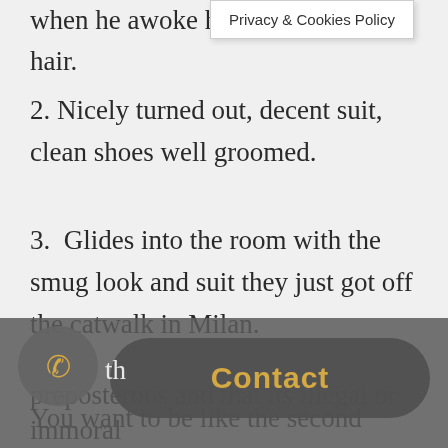when he awoke he s hair.
Privacy & Cookies Policy
2. Nicely turned out, decent suit, clean shoes well groomed.
3.  Glides into the room with the smug look and suit they just got off the catwalk in Milan.
You want to be like the second option as if you go to far in the other directions then it can count against you. Some of you might
th
Contact
preposterous and that its illegal or immoral